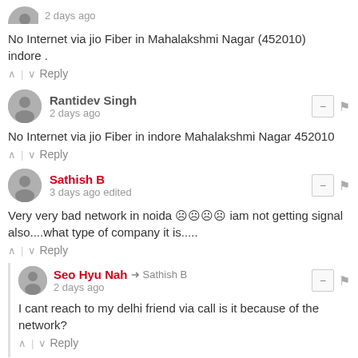2 days ago
No Internet via jio Fiber in Mahalakshmi Nagar (452010) indore .
^ | v   Reply
Rantidev Singh
2 days ago
No Internet via jio Fiber in indore Mahalakshmi Nagar 452010
^ | v   Reply
Sathish B
3 days ago edited
Very very bad network in noida ☹☹☹☹ iam not getting signal also....what type of company it is.....
^ | v   Reply
Seo Hyu Nah → Sathish B
2 days ago
I cant reach to my delhi friend via call is it because of the network?
^ | v   Reply